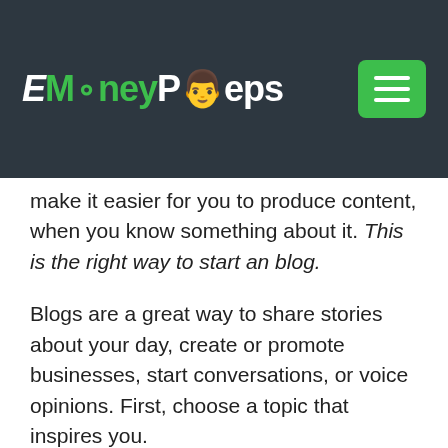EMoneyPeeps
make it easier for you to produce content, when you know something about it. This is the right way to start an blog.
Blogs are a great way to share stories about your day, create or promote businesses, start conversations, or voice opinions. First, choose a topic that inspires you.
Think about what you are passionate about and topics that are relevant to your life.
Maybe you already have a business, and you